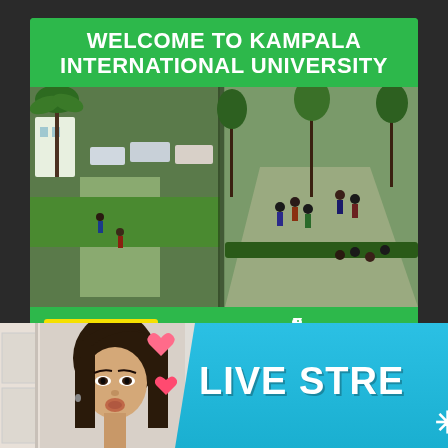[Figure (photo): Kampala International University advertisement banner. Green background with white bold text 'WELCOME TO KAMPALA INTERNATIONAL UNIVERSITY' at top. Campus aerial photo in the middle showing greenery, paths, parked cars, and students walking. Bottom green strip shows yellow 'APPLY NOW!' button, white text 'Registration for 2022 intake Open', and KIU giraffe logo with university name and URL www.kiu.ac.ug.]
[Figure (photo): Bottom portion showing a young woman making a kissing face on the left against a light background. Pink heart emojis in the middle. A blue diagonal banner on the right with white bold text 'LIVE STRE' (partially cropped) and a white clover/asterisk icon.]